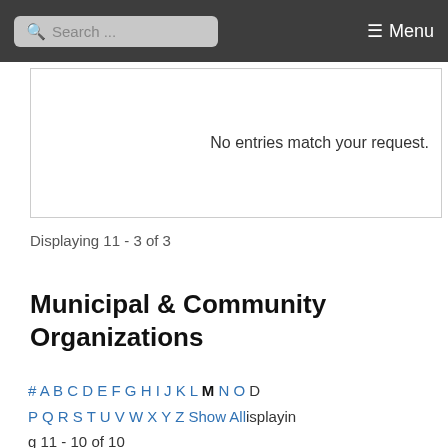Search ... Menu
No entries match your request.
Displaying 11 - 3 of 3
Municipal & Community Organizations
# A B C D E F G H I J K L M N O D P Q R S T U V W X Y Z Show All isplaying 11 - 10 of 10